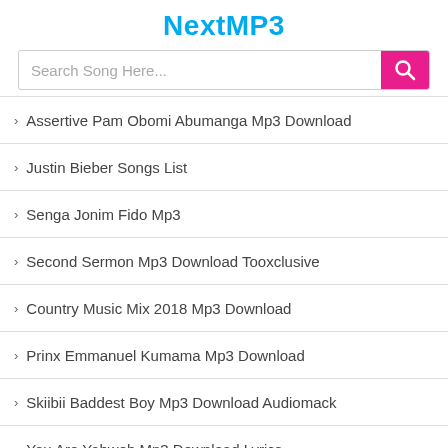NextMP3
Search Song Here...
Assertive Pam Obomi Abumanga Mp3 Download
Justin Bieber Songs List
Senga Jonim Fido Mp3
Second Sermon Mp3 Download Tooxclusive
Country Music Mix 2018 Mp3 Download
Prinx Emmanuel Kumama Mp3 Download
Skiibii Baddest Boy Mp3 Download Audiomack
You Are Yahweh Mp3 Download Lyrics
Loyiso Seasons Mp3 Download Lyrics
Pem Kakula Pipi Mp3 Download Cover
Sinhala Song Mp3 Download Jayasrilanka
Signal Italyanski Mp3 Skachat